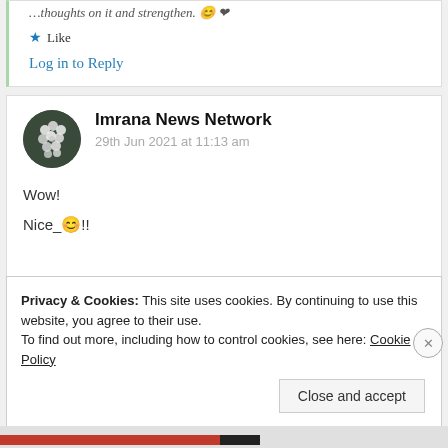…thoughts on it and strengthen. 😊 ❤
★ Like
Log in to Reply
Imrana News Network
29th Jun 2021 at 11:13 am
Wow!
Nice_ 😊 !!
Privacy & Cookies: This site uses cookies. By continuing to use this website, you agree to their use. To find out more, including how to control cookies, see here: Cookie Policy
Close and accept